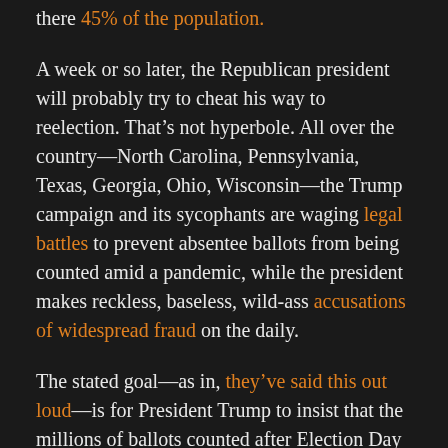there 45% of the population.
A week or so later, the Republican president will probably try to cheat his way to reelection. That's not hyperbole. All over the country—North Carolina, Pennsylvania, Texas, Georgia, Ohio, Wisconsin—the Trump campaign and its sycophants are waging legal battles to prevent absentee ballots from being counted amid a pandemic, while the president makes reckless, baseless, wild-ass accusations of widespread fraud on the daily.
The stated goal—as in, they've said this out loud—is for President Trump to insist that the millions of ballots counted after Election Day are fraudulent, sue, and have the courts declare him the victor.
The th...